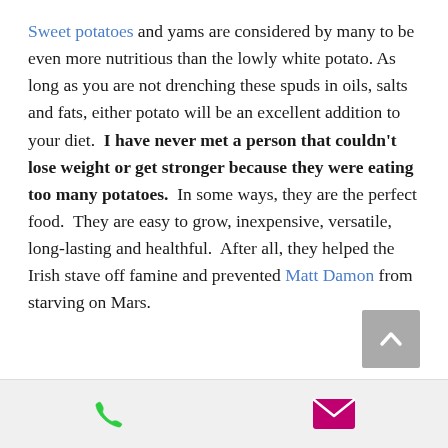Sweet potatoes and yams are considered by many to be even more nutritious than the lowly white potato. As long as you are not drenching these spuds in oils, salts and fats, either potato will be an excellent addition to your diet. I have never met a person that couldn't lose weight or get stronger because they were eating too many potatoes. In some ways, they are the perfect food. They are easy to grow, inexpensive, versatile, long-lasting and healthful. After all, they helped the Irish stave off famine and prevented Matt Damon from starving on Mars.
[Figure (other): Scroll-to-top button (grey square with white upward chevron)]
[Figure (other): Bottom navigation bar with a green phone icon and a magenta/pink envelope icon]